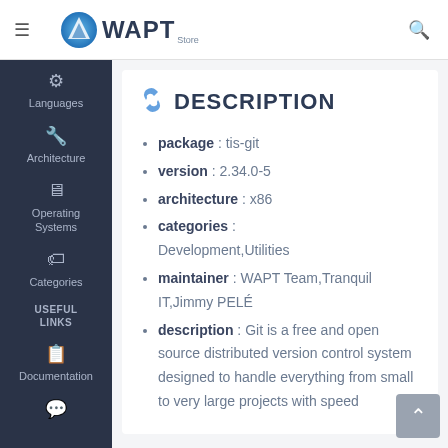WAPT Store
DESCRIPTION
package : tis-git
version : 2.34.0-5
architecture : x86
categories : Development,Utilities
maintainer : WAPT Team,Tranquil IT,Jimmy PELÉ
description : Git is a free and open source distributed version control system designed to handle everything from small to very large projects with speed